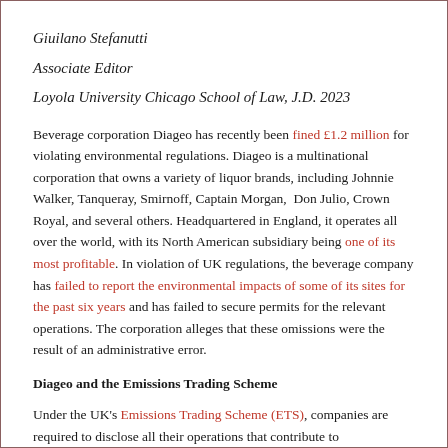Giuilano Stefanutti
Associate Editor
Loyola University Chicago School of Law, J.D. 2023
Beverage corporation Diageo has recently been fined £1.2 million for violating environmental regulations. Diageo is a multinational corporation that owns a variety of liquor brands, including Johnnie Walker, Tanqueray, Smirnoff, Captain Morgan, Don Julio, Crown Royal, and several others. Headquartered in England, it operates all over the world, with its North American subsidiary being one of its most profitable. In violation of UK regulations, the beverage company has failed to report the environmental impacts of some of its sites for the past six years and has failed to secure permits for the relevant operations. The corporation alleges that these omissions were the result of an administrative error.
Diageo and the Emissions Trading Scheme
Under the UK's Emissions Trading Scheme (ETS), companies are required to disclose all their operations that contribute to